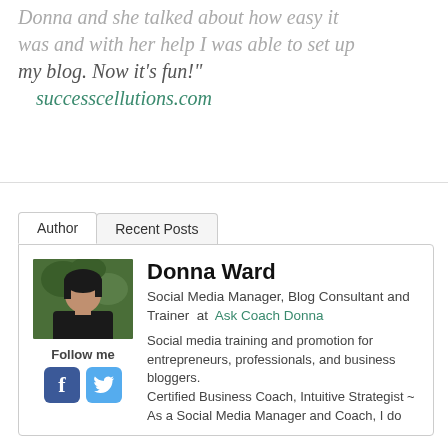Donna and she talked about how easy it was and with her help I was able to set up my blog. Now it's fun!"
successcellutions.com
[Figure (screenshot): Author bio widget with tabs (Author, Recent Posts), photo of Donna Ward, social media follow icons (Facebook, Twitter), name, title, and bio text]
Donna Ward
Social Media Manager, Blog Consultant and Trainer at Ask Coach Donna
Social media training and promotion for entrepreneurs, professionals, and business bloggers. Certified Business Coach, Intuitive Strategist ~ As a Social Media Manager and Coach, I do the work for you and/or train corporations